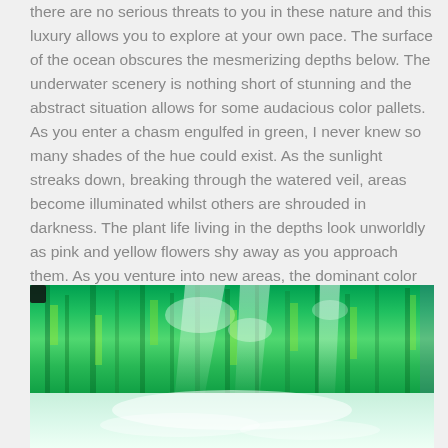there are no serious threats to you in these nature and this luxury allows you to explore at your own pace. The surface of the ocean obscures the mesmerizing depths below. The underwater scenery is nothing short of stunning and the abstract situation allows for some audacious color pallets. As you enter a chasm engulfed in green, I never knew so many shades of the hue could exist. As the sunlight streaks down, breaking through the watered veil, areas become illuminated whilst others are shrouded in darkness. The plant life living in the depths look unworldly as pink and yellow flowers shy away as you approach them. As you venture into new areas, the dominant color will change drastically creating a fresh haven for you to explore.
[Figure (photo): Underwater photograph showing green aquatic plant life with shafts of light filtering through water, creating bright and dark areas. Upper portion shows dense green underwater vegetation with bright highlights; lower portion shows lighter, more diffuse green-white water reflection.]